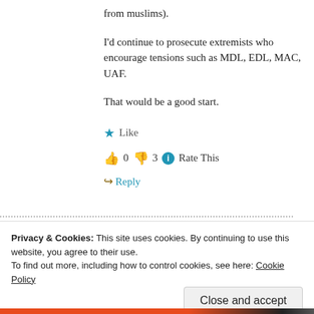from muslims).
I'd continue to prosecute extremists who encourage tensions such as MDL, EDL, MAC, UAF.
That would be a good start.
★ Like
👍 0 👎 3 ℹ Rate This
↪ Reply
Privacy & Cookies: This site uses cookies. By continuing to use this website, you agree to their use. To find out more, including how to control cookies, see here: Cookie Policy
Close and accept